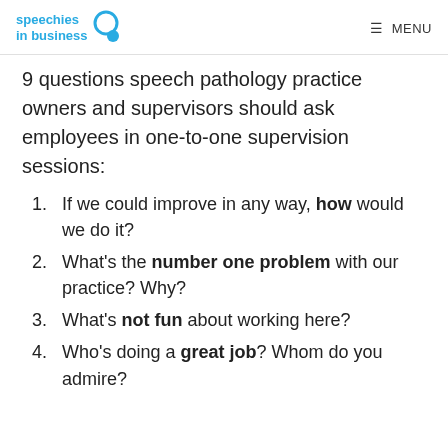speechies in business  MENU
9 questions speech pathology practice owners and supervisors should ask employees in one-to-one supervision sessions:
If we could improve in any way, how would we do it?
What's the number one problem with our practice? Why?
What's not fun about working here?
Who's doing a great job? Whom do you admire?